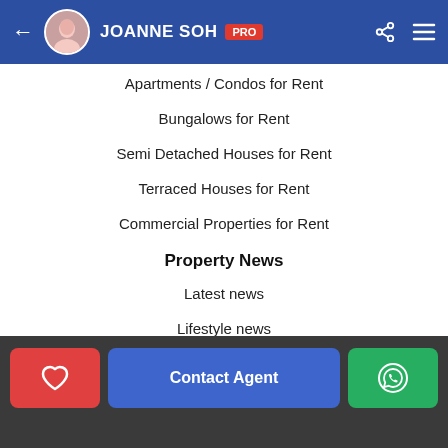JOANNE SOH PRO
Apartments / Condos for Rent
Bungalows for Rent
Semi Detached Houses for Rent
Terraced Houses for Rent
Commercial Properties for Rent
Property News
Latest news
Lifestyle news
In-depth news
Video
Events